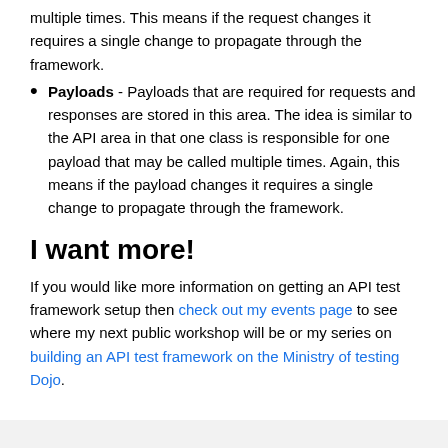multiple times. This means if the request changes it requires a single change to propagate through the framework.
Payloads - Payloads that are required for requests and responses are stored in this area. The idea is similar to the API area in that one class is responsible for one payload that may be called multiple times. Again, this means if the payload changes it requires a single change to propagate through the framework.
I want more!
If you would like more information on getting an API test framework setup then check out my events page to see where my next public workshop will be or my series on building an API test framework on the Ministry of testing Dojo.